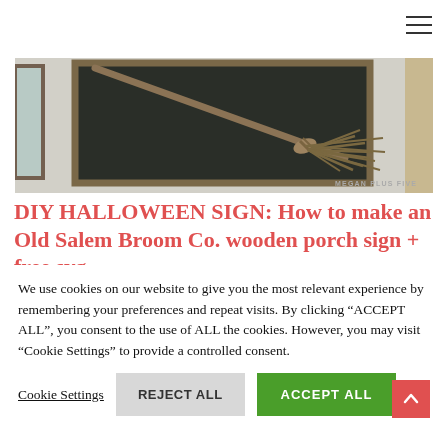[Figure (photo): A witch's broom leaning against a dark chalkboard framed in rustic wood, mounted on a white siding wall. Watermark reads MEGAN PLUS FIVE.]
DIY HALLOWEEN SIGN: How to make an Old Salem Broom Co. wooden porch sign + free svg
We use cookies on our website to give you the most relevant experience by remembering your preferences and repeat visits. By clicking “ACCEPT ALL”, you consent to the use of ALL the cookies. However, you may visit “Cookie Settings” to provide a controlled consent.
Cookie Settings | REJECT ALL | ACCEPT ALL